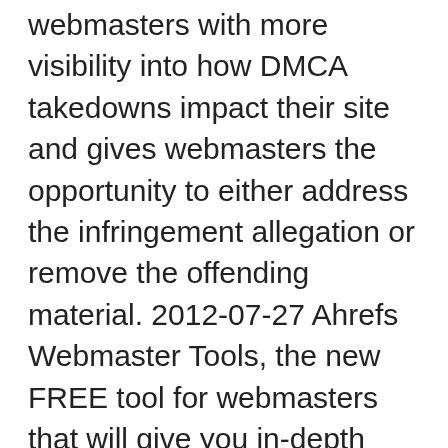webmasters with more visibility into how DMCA takedowns impact their site and gives webmasters the opportunity to either address the infringement allegation or remove the offending material. 2012-07-27 Ahrefs Webmaster Tools, the new FREE tool for webmasters that will give you in-depth SEO details for your site.. Historically, Ahrefs has been a paid tool that is priced at $99 and more for higher plans. However, the webmaster tool is completely free to use. Go to http://www.bing.com/webmasters/tools/contentremoval and sign in with the account you use for Bing Webmaster Tools; In the Content URL input box, enter the exact URL you found in the Bing web results (for example, by using Copy Shortcut/Copy Link Address functionality in your browser) In the Removal Type drop-down menu select Page